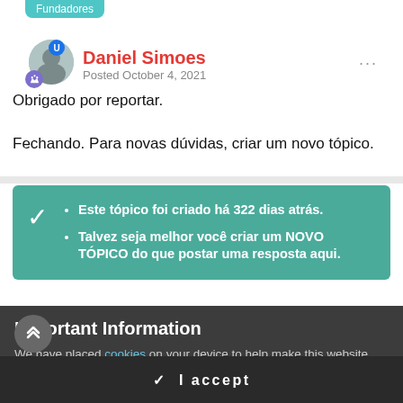Fundadores
Daniel Simoes
Posted October 4, 2021
Obrigado por reportar.
Fechando. Para novas dúvidas, criar um novo tópico.
Este tópico foi criado há 322 dias atrás.
Talvez seja melhor você criar um NOVO TÓPICO do que postar uma resposta aqui.
Important Information
We have placed cookies on your device to help make this website better. You can adjust your cookie settings, otherwise we'll assume you're okay to continue.
✓  I accept